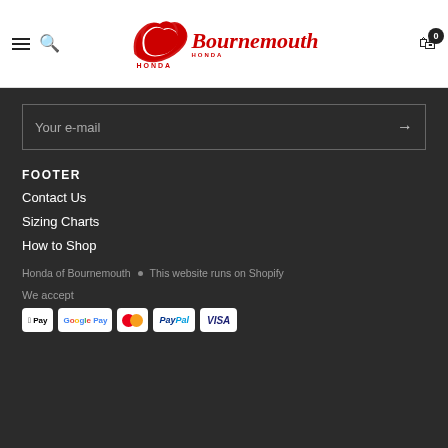[Figure (logo): Honda wing logo with 'Bournemouth' script text in red, forming the Honda of Bournemouth brand logo]
Your e-mail
FOOTER
Contact Us
Sizing Charts
How to Shop
Honda of Bournemouth • This website runs on Shopify
We accept
[Figure (logo): Payment method icons: Apple Pay, Google Pay, Mastercard, PayPal, Visa]